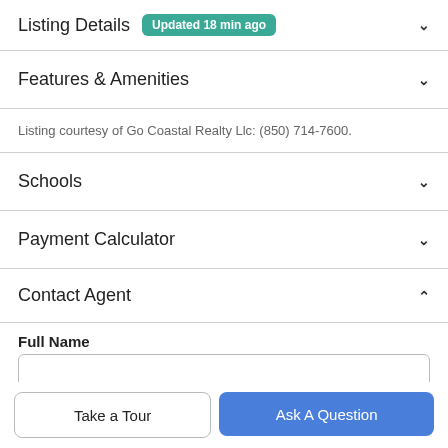Listing Details Updated 18 min ago
Features & Amenities
Listing courtesy of Go Coastal Realty Llc: (850) 714-7600.
Schools
Payment Calculator
Contact Agent
Full Name
Take a Tour
Ask A Question